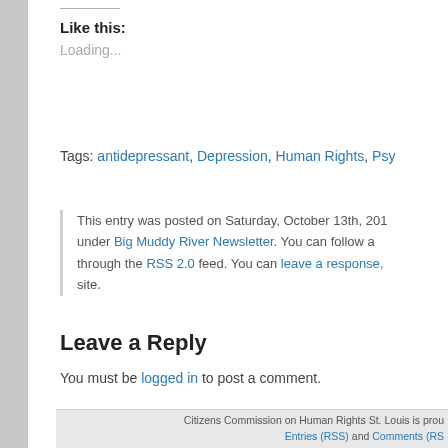Like this:
Loading...
Tags: antidepressant, Depression, Human Rights, Psy
This entry was posted on Saturday, October 13th, 201 under Big Muddy River Newsletter. You can follow a through the RSS 2.0 feed. You can leave a response, site.
Leave a Reply
You must be logged in to post a comment.
Citizens Commission on Human Rights St. Louis is prou Entries (RSS) and Comments (RS